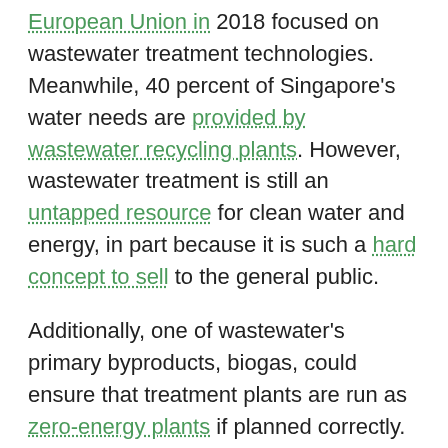European Union in 2018 focused on wastewater treatment technologies. Meanwhile, 40 percent of Singapore's water needs are provided by wastewater recycling plants. However, wastewater treatment is still an untapped resource for clean water and energy, in part because it is such a hard concept to sell to the general public.
Additionally, one of wastewater's primary byproducts, biogas, could ensure that treatment plants are run as zero-energy plants if planned correctly. However, like desalination plants, wastewater treatment poses cost and infrastructure barriers which limit their use to mostly high- and medium-income countries. This leaves the most at-risk populations in low-income countries without treated water, let alone the ability to treat wastewater.
Water treatment innovators are seeking to develop